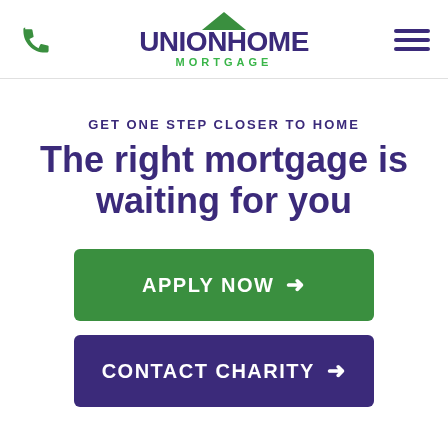[Figure (logo): Union Home Mortgage logo with green roof icon, phone icon on left, hamburger menu on right]
GET ONE STEP CLOSER TO HOME
The right mortgage is waiting for you
APPLY NOW →
CONTACT CHARITY →